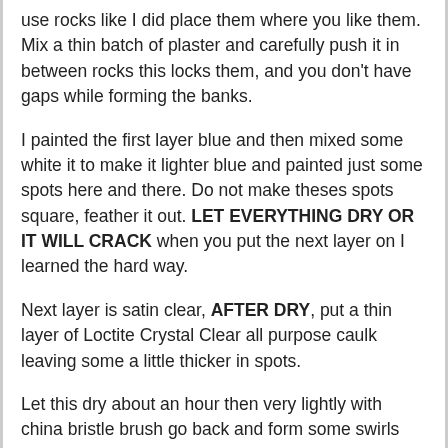use rocks like I did place them where you like them. Mix a thin batch of plaster and carefully push it in between rocks this locks them, and you don't have gaps while forming the banks.
I painted the first layer blue and then mixed some white it to make it lighter blue and painted just some spots here and there. Do not make theses spots square, feather it out. LET EVERYTHING DRY OR IT WILL CRACK when you put the next layer on I learned the hard way.
Next layer is satin clear, AFTER DRY, put a thin layer of Loctite Crystal Clear all purpose caulk leaving some a little thicker in spots.
Let this dry about an hour then very lightly with china bristle brush go back and form some swirls and waves. This will look milky as it dry's DONT freak out it will dry clear. When it is all clear it is dry.
Repeat this only use some of your blue and yellows to make different shade of greens and yellows. Paint the caulk in spots and feather it. Use different shades all along the river